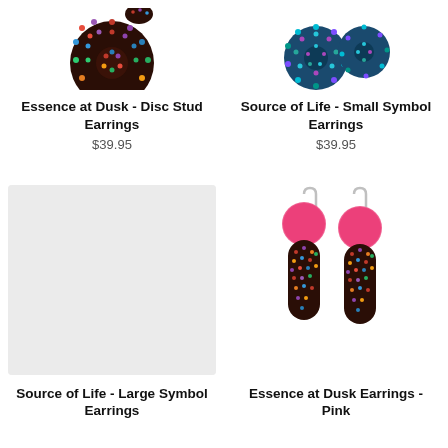[Figure (photo): Essence at Dusk Disc Stud Earrings - circular earring with Aboriginal dot art pattern in dark red and brown tones, partially cropped at top]
Essence at Dusk - Disc Stud Earrings
$39.95
[Figure (photo): Source of Life Small Symbol Earrings - two circular earrings with turquoise and multicolor Aboriginal dot art pattern, partially cropped at top]
Source of Life - Small Symbol Earrings
$39.95
[Figure (photo): Source of Life Large Symbol Earrings - product image placeholder, light gray background]
Source of Life - Large Symbol Earrings
[Figure (photo): Essence at Dusk Earrings Pink - two drop earrings with pink circular top disc and elongated rounded rectangle bottom with Aboriginal dot art pattern, silver hooks]
Essence at Dusk Earrings - Pink